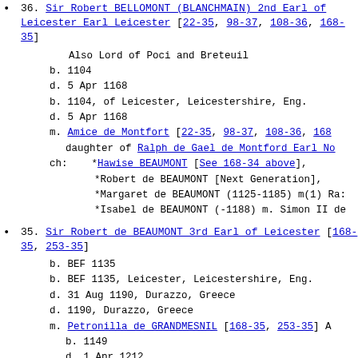36. Sir Robert BELLOMONT (BLANCHMAIN) 2nd Earl of Leicester Earl Leicester [22-35, 98-37, 108-36, 168-35]
  Also Lord of Poci and Breteuil
  b. 1104
  d. 5 Apr 1168
  b. 1104, of Leicester, Leicestershire, Eng.
  d. 5 Apr 1168
  m. Amice de Montfort [22-35, 98-37, 108-36, 168-...]
     daughter of Ralph de Gael de Montford Earl No...
  ch: *Hawise BEAUMONT [See 168-34 above],
      *Robert de BEAUMONT [Next Generation],
      *Margaret de BEAUMONT (1125-1185) m(1) Ra...
      *Isabel de BEAUMONT (-1188) m. Simon II de...
35. Sir Robert de BEAUMONT 3rd Earl of Leicester [168-35, 253-35]
  b. BEF 1135
  b. BEF 1135, Leicester, Leicestershire, Eng.
  d. 31 Aug 1190, Durazzo, Greece
  d. 1190, Durazzo, Greece
  m. Petronilla de GRANDMESNIL [168-35, 253-35] A...
     b. 1149
     d. 1 Apr 1212
     daughter of Hugh de GRANDMESNIL
         [son of Hugh de GRANDMESNIL]
  ch: Robert de m. Laurette de BRAOSE,
      *Margaret de [Next Generation],
      Amicia de (-1215) m(3) Simon IV de MONTFO...